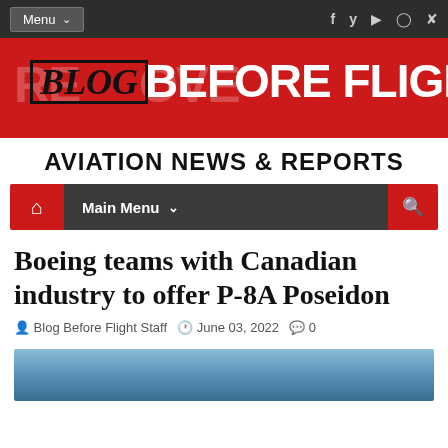Menu | social icons: Facebook, Twitter, YouTube, Instagram, RSS
[Figure (logo): Blog Before Flight .NET logo — red banner with white/black bold text]
AVIATION NEWS & REPORTS
[Figure (screenshot): Navigation bar with home icon, Main Menu dropdown, and search icon]
Boeing teams with Canadian industry to offer P-8A Poseidon
Blog Before Flight Staff  June 03, 2022  0
[Figure (photo): Partial photo of aircraft in blue sky — image is cropped at bottom]